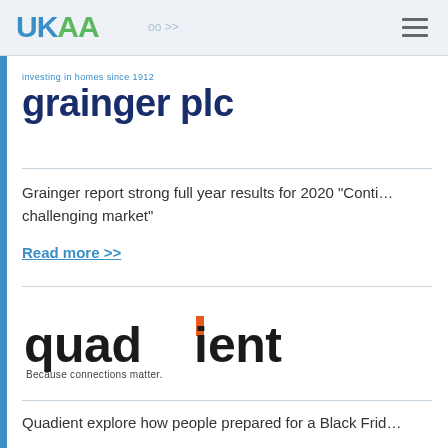UKAA
[Figure (logo): Grainger plc logo with tagline 'investing in homes since 1912']
Grainger report strong full year results for 2020 “Conti… challenging market”
Read more >>
[Figure (logo): Quadient logo with tagline 'Because connections matter.']
Quadient explore how people prepared for a Black Frid…